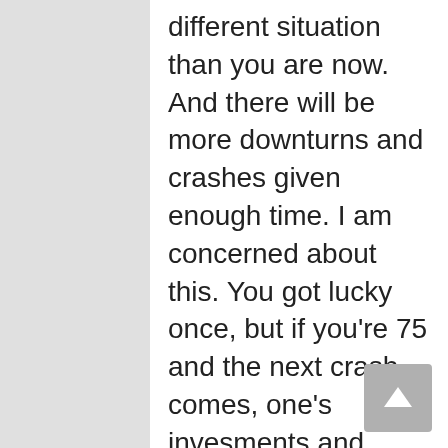different situation than you are now. And there will be more downturns and crashes given enough time. I am concerned about this. You got lucky once, but if you're 75 and the next crash comes, one's invesments and therefore lifestyle can be devastated. In other words, you're living comfortably now on less than $1MM, but that can change.
Thirdly, I'm concerned (this is a personal thing I think) that if my wife outlives me by a long time, I'm not sure $1MM is enough to basically guarantee her the lifestyle I'd like her to lead – basically some freedom to live a middle class lifestyle and not have to worry about finances. If I drop dead at 65, does $1MM get her